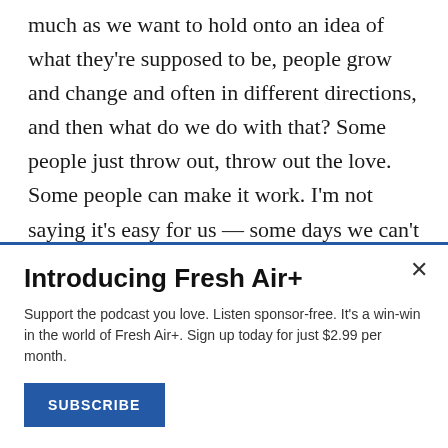much as we want to hold onto an idea of what they're supposed to be, people grow and change and often in different directions, and then what do we do with that? Some people just throw out, throw out the love. Some people can make it work. I'm not saying it's easy for us — some days we can't stand each other, all of us, and then some days it's different. We communicate as much as we can. We talk about it, but it's certainly not easy. But I think the only other option is throwing out what we have and what we have is something
Introducing Fresh Air+
Support the podcast you love. Listen sponsor-free. It's a win-win in the world of Fresh Air+. Sign up today for just $2.99 per month.